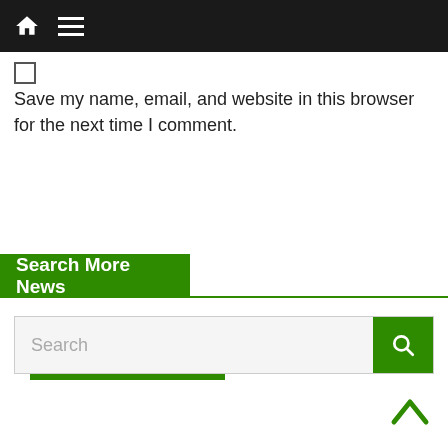[Figure (screenshot): Top navigation bar with dark background, home icon and hamburger menu icon]
Save my name, email, and website in this browser for the next time I comment.
Post Comment
Search More News
Search